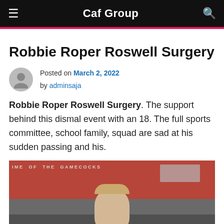Caf Group
Robbie Roper Roswell Surgery
Posted on March 2, 2022 by adminsaja
Robbie Roper Roswell Surgery. The support behind this dismal event with an 18. The full sports committee, school family, squad are sad at his sudden passing and his.
[Figure (photo): Young man standing in a stadium, text 'HOME OF THE GAMECOCKS' visible in background. Red stadium seats and stands visible.]